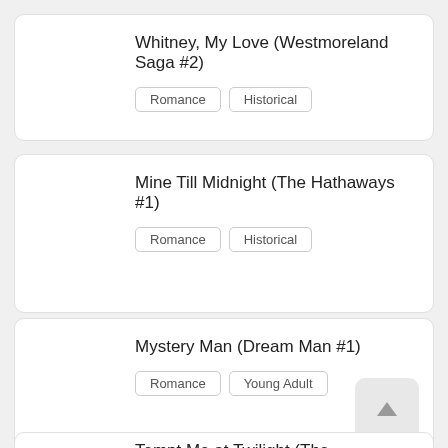Whitney, My Love (Westmoreland Saga #2)
Romance
Historical
Mine Till Midnight (The Hathaways #1)
Romance
Historical
Mystery Man (Dream Man #1)
Romance
Young Adult
Tempt Me at Twilight (The Hathaways #2)